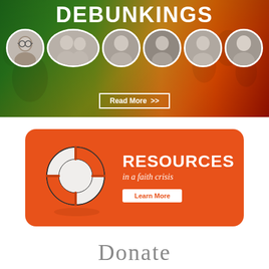[Figure (infographic): Banner with colorful background (green to red gradient with historical photo overlay), circular portrait photos of multiple individuals, large 'DEBUNKINGS' title text, and a 'Read More >>' button]
[Figure (infographic): Orange rounded rectangle card featuring a life preserver/lifebuoy illustration on the left, 'RESOURCES' title in bold white, 'in a faith crisis' subtitle in italic white, and a 'Learn More' button]
Donate